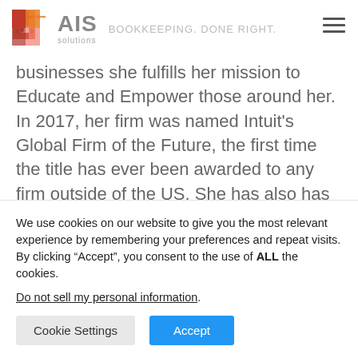AIS solutions BOOKKEEPING. DONE RIGHT.
businesses she fulfills her mission to Educate and Empower those around her. In 2017, her firm was named Intuit's Global Firm of the Future, the first time the title has ever been awarded to any firm outside of the US. She has also has been named as one of the Top 50 Women in Accounting, one of the Top 50 Cloud
We use cookies on our website to give you the most relevant experience by remembering your preferences and repeat visits. By clicking “Accept”, you consent to the use of ALL the cookies.
Do not sell my personal information.